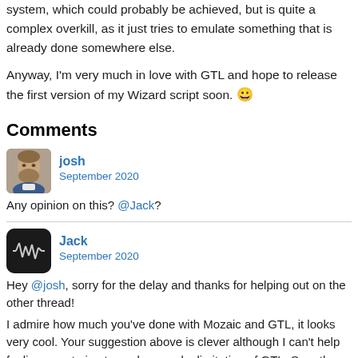system, which could probably be achieved, but is quite a complex overkill, as it just tries to emulate something that is already done somewhere else.
Anyway, I'm very much in love with GTL and hope to release the first version of my Wizard script soon. 😀
Comments
[Figure (photo): Avatar photo of josh - a man with beard]
josh
September 2020
Any opinion on this? @Jack?
[Figure (logo): Jack's avatar - dark rounded square with waveform icon]
Jack
September 2020
Hey @josh, sorry for the delay and thanks for helping out on the other thread!
I admire how much you've done with Mozaic and GTL, it looks very cool. Your suggestion above is clever although I can't help feeling your trying to work around a limitation of GTL. So rather than writing a new MIDI sysex